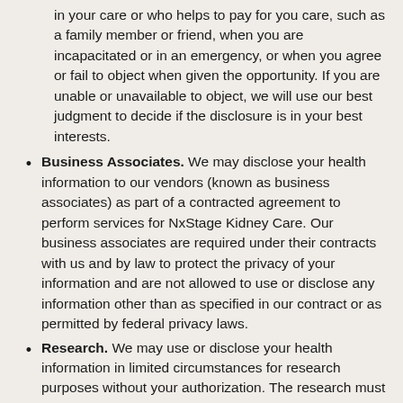in your care or who helps to pay for you care, such as a family member or friend, when you are incapacitated or in an emergency, or when you agree or fail to object when given the opportunity. If you are unable or unavailable to object, we will use our best judgment to decide if the disclosure is in your best interests.
Business Associates. We may disclose your health information to our vendors (known as business associates) as part of a contracted agreement to perform services for NxStage Kidney Care. Our business associates are required under their contracts with us and by law to protect the privacy of your information and are not allowed to use or disclose any information other than as specified in our contract or as permitted by federal privacy laws.
Research. We may use or disclose your health information in limited circumstances for research purposes without your authorization. The research must meet federal privacy law requirements, including